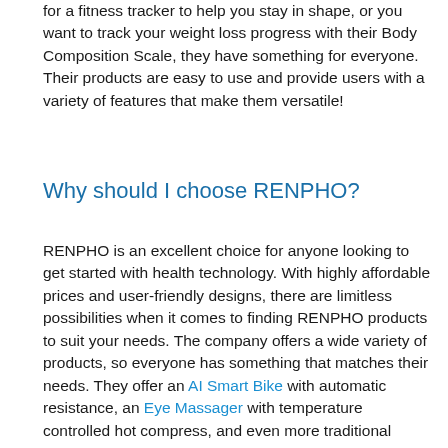for a fitness tracker to help you stay in shape, or you want to track your weight loss progress with their Body Composition Scale, they have something for everyone. Their products are easy to use and provide users with a variety of features that make them versatile!
Why should I choose RENPHO?
RENPHO is an excellent choice for anyone looking to get started with health technology. With highly affordable prices and user-friendly designs, there are limitless possibilities when it comes to finding RENPHO products to suit your needs. The company offers a wide variety of products, so everyone has something that matches their needs. They offer an AI Smart Bike with automatic resistance, an Eye Massager with temperature controlled hot compress, and even more traditional